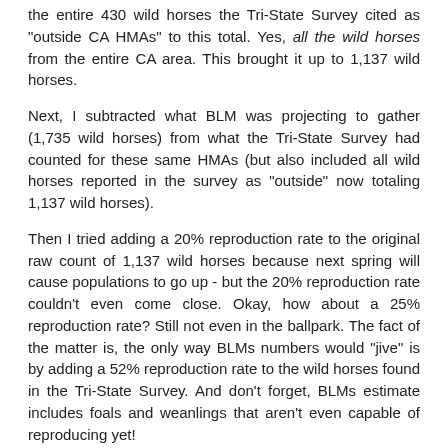the entire 430 wild horses the Tri-State Survey cited as “outside CA HMAs” to this total. Yes, all the wild horses from the entire CA area. This brought it up to 1,137 wild horses.
Next, I subtracted what BLM was projecting to gather (1,735 wild horses) from what the Tri-State Survey had counted for these same HMAs (but also included all wild horses reported in the survey as “outside” now totaling 1,137 wild horses).
Then I tried adding a 20% reproduction rate to the original raw count of 1,137 wild horses because next spring will cause populations to go up - but the 20% reproduction rate couldn’t even come close. Okay, how about a 25% reproduction rate? Still not even in the ballpark. The fact of the matter is, the only way BLMs numbers would “jive” is by adding a 52% reproduction rate to the wild horses found in the Tri-State Survey. And don’t forget, BLMs estimate includes foals and weanlings that aren’t even capable of reproducing yet!
The methods BLM is now touting as bringing “more valid” population estimates to the Wild Horse and Burro Program